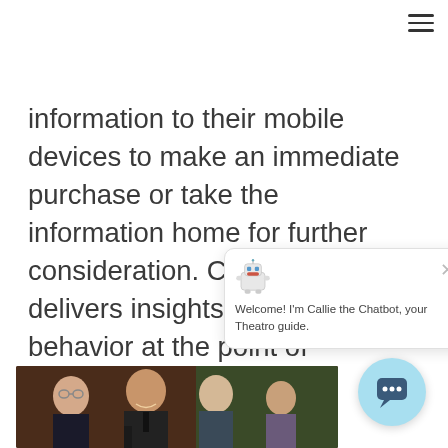information to their mobile devices to make an immediate purchase or take the information home for further consideration. Converge also delivers insights on consumer behavior at the point of purchase, which retailers and manufacturer clients can use to more effectively direct product messaging. The booth's Converge: Configure feature allowed attendees to test out configuring a Tesla car, while the Converge: Compare let attendees compare two products side by side, like two smart home door locks.
[Figure (screenshot): Chatbot popup overlay with robot icon and welcome message 'Welcome! I'm Callie the Chatbot, your Theatro guide.' with a close X button]
[Figure (photo): Group of people laughing and smiling at an event, photographed from the side]
[Figure (illustration): Light blue circular chatbot bubble button in the bottom right corner]